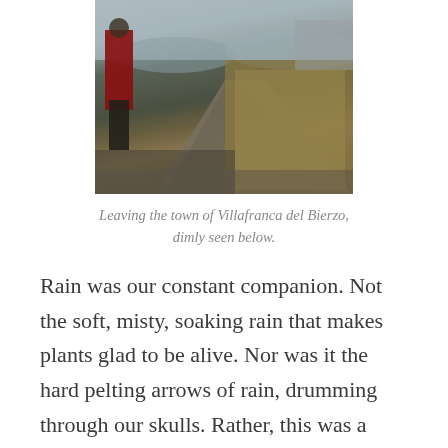[Figure (photo): A person in a red jacket walking on a gravel trail with dry brown grass/shrubs on the right side, and a misty landscape visible in the background below.]
Leaving the town of Villafranca del Bierzo, dimly seen below.
Rain was our constant companion. Not the soft, misty, soaking rain that makes plants glad to be alive. Nor was it the hard pelting arrows of rain, drumming through our skulls. Rather, this was a slow, methodical soaking rain with big, steady drops of water filling the air, turning the ground into a sponge, and determinedly working its way through my rain gear, dripping off my nose, down